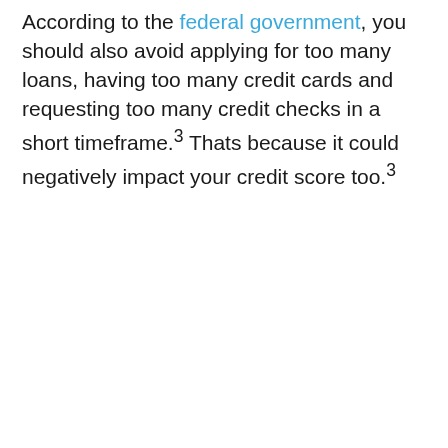According to the federal government, you should also avoid applying for too many loans, having too many credit cards and requesting too many credit checks in a short timeframe.3 Thats because it could negatively impact your credit score too.3